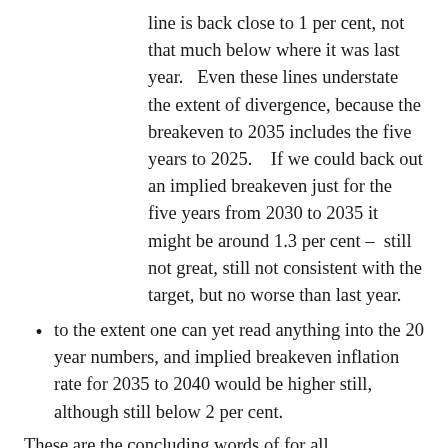line is back close to 1 per cent, not that much below where it was last year.   Even these lines understate the extent of divergence, because the breakeven to 2035 includes the five years to 2025.    If we could back out an implied breakeven just for the five years from 2030 to 2035 it might be around 1.3 per cent –  still not great, still not consistent with the target, but no worse than last year.
to the extent one can yet read anything into the 20 year numbers, and implied breakeven inflation rate for 2035 to 2040 would be higher still, although still below 2 per cent.
These are the concluding words of for all